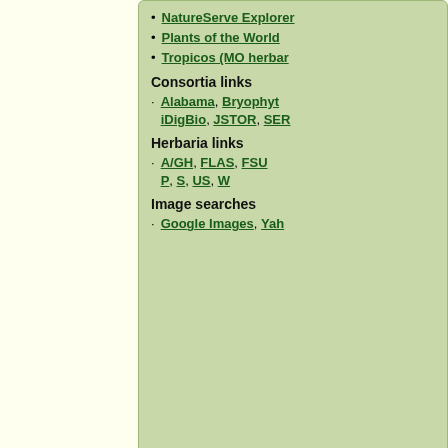NatureServe Explorer
Plants of the World
Tropicos (MO herbar…
Consortia links
Alabama, Bryophyt… iDigBio, JSTOR, SER…
Herbaria links
A/GH, FLAS, FSU… P, S, US, W
Image searches
Google Images, Yah…
Source
| County | Herbaria | Literature Citation (If Applicable) |
| --- | --- | --- |
| Alachua | PIHG |  |
| Columbia | USF |  |
| Dixie | FLAS |  |
| Flagler | FLAS |  |
| Gadsden | FSU |  |
+ Expand All